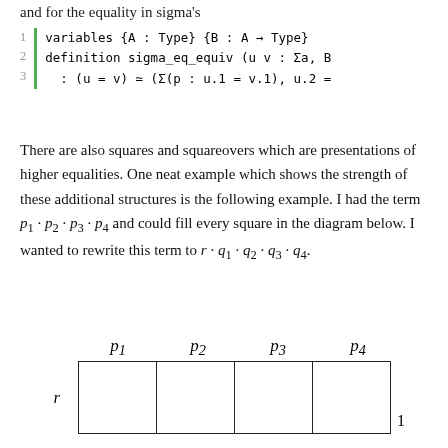and for the equality in sigma's
[Figure (screenshot): Code block showing lines 1-3: variables {A : Type} {B : A → Type}, definition sigma_eq_equiv (u v : Σa, B), : (u = v) ≃ (Σ(p : u.1 = v.1), u.2 =]
There are also squares and squareovers which are presentations of higher equalities. One neat example which shows the strength of these additional structures is the following example. I had the term p₁ · p₂ · p₃ · p₄ and could fill every square in the diagram below. I wanted to rewrite this term to r · q₁ · q₂ · q₃ · q₄.
[Figure (other): A diagram showing a grid with column headers p1, p2, p3, p4 and row label r, with a '1' label on the right. The grid has one row of 4 empty cells.]